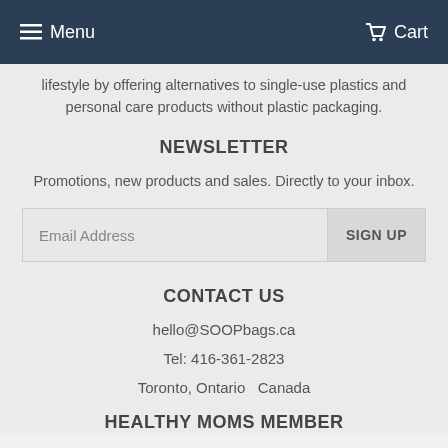Menu   Cart
lifestyle by offering alternatives to single-use plastics and personal care products without plastic packaging.
NEWSLETTER
Promotions, new products and sales. Directly to your inbox.
Email Address   SIGN UP
CONTACT US
hello@SOOPbags.ca
Tel: 416-361-2823
Toronto, Ontario  Canada
HEALTHY MOMS MEMBER